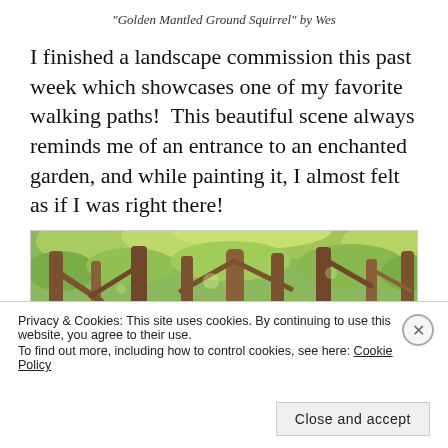“Golden Mantled Ground Squirrel” by Wes
I finished a landscape commission this past week which showcases one of my favorite walking paths!  This beautiful scene always reminds me of an entrance to an enchanted garden, and while painting it, I almost felt as if I was right there!
[Figure (photo): A painting of a forest path with tall brown trees and green foliage, viewed as if entering a wooded area.]
Privacy & Cookies: This site uses cookies. By continuing to use this website, you agree to their use.
To find out more, including how to control cookies, see here: Cookie Policy
Close and accept